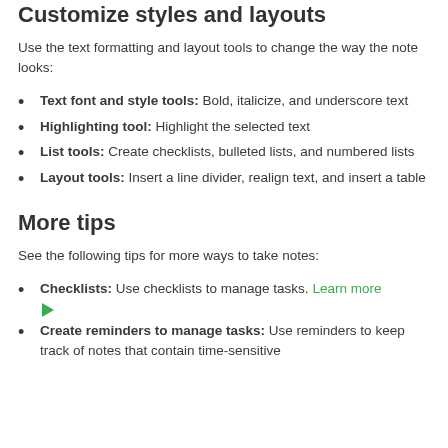Customize styles and layouts
Use the text formatting and layout tools to change the way the note looks:
Text font and style tools: Bold, italicize, and underscore text
Highlighting tool: Highlight the selected text
List tools: Create checklists, bulleted lists, and numbered lists
Layout tools: Insert a line divider, realign text, and insert a table
More tips
See the following tips for more ways to take notes:
Checklists: Use checklists to manage tasks. Learn more ▶
Create reminders to manage tasks: Use reminders to keep track of notes that contain time-sensitive